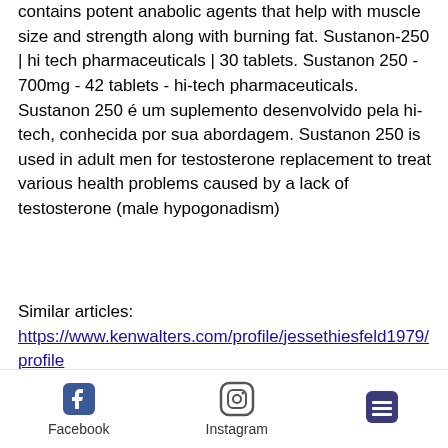contains potent anabolic agents that help with muscle size and strength along with burning fat. Sustanon-250 | hi tech pharmaceuticals | 30 tablets. Sustanon 250 - 700mg - 42 tablets - hi-tech pharmaceuticals. Sustanon 250 é um suplemento desenvolvido pela hi-tech, conhecida por sua abordagem. Sustanon 250 is used in adult men for testosterone replacement to treat various health problems caused by a lack of testosterone (male hypogonadism)
Similar articles: https://www.kenwalters.com/profile/jessethiesfeld1979/profile https://www.bivinscattlecompany.com/profile/davehueston1976/profile https://www.doorbellrealestate.com/profile/ru
Facebook  Instagram